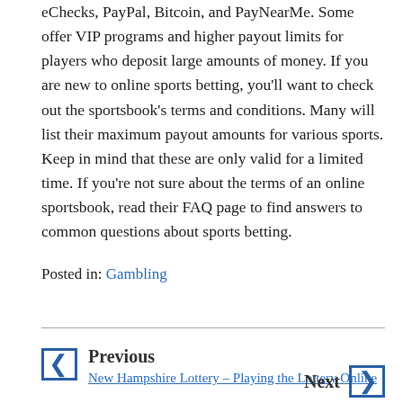eChecks, PayPal, Bitcoin, and PayNearMe. Some offer VIP programs and higher payout limits for players who deposit large amounts of money. If you are new to online sports betting, you'll want to check out the sportsbook's terms and conditions. Many will list their maximum payout amounts for various sports. Keep in mind that these are only valid for a limited time. If you're not sure about the terms of an online sportsbook, read their FAQ page to find answers to common questions about sports betting.
Posted in: Gambling
Previous
New Hampshire Lottery – Playing the Lottery Online
Next